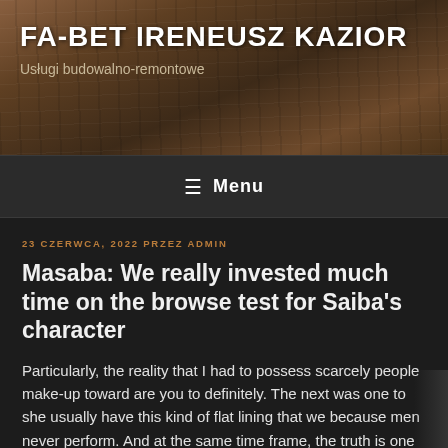FA-BET IRENEUSZ KAZIOR
Usługi budowalno-remontowe
≡ Menu
23 CZERWCA, 2022 PRZEZ ADMIN
Masaba: We really invested much time on the browse test for Saiba's character
Particularly, the reality that I had to possess scarcely people make-up toward are you to definitely. The next was one to she usually have this kind of flat lining that we because men never perform. And at the same time frame, the truth is one the girl hair is never completely